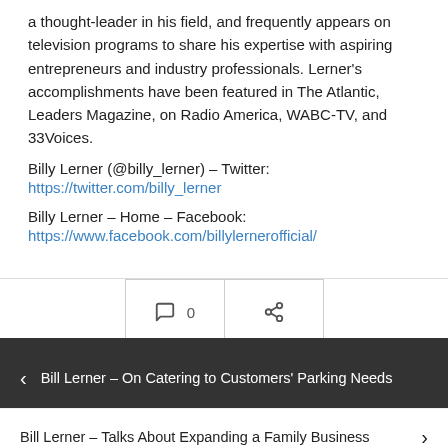a thought-leader in his field, and frequently appears on television programs to share his expertise with aspiring entrepreneurs and industry professionals. Lerner's accomplishments have been featured in The Atlantic, Leaders Magazine, on Radio America, WABC-TV, and 33Voices.
Billy Lerner (@billy_lerner) – Twitter: https://twitter.com/billy_lerner
Billy Lerner – Home – Facebook: https://www.facebook.com/billylernerofficial/
‹ Bill Lerner – On Catering to Customers' Parking Needs
Bill Lerner – Talks About Expanding a Family Business ›